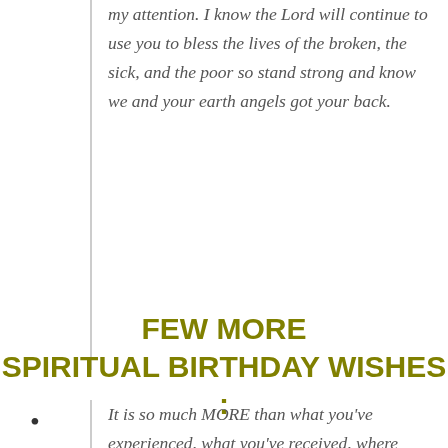my attention. I know the Lord will continue to use you to bless the lives of the broken, the sick, and the poor so stand strong and know we and your earth angels got your back.
FEW MORE SPIRITUAL BIRTHDAY WISHES :
It is so much MORE than what you've experienced, what you've received, where